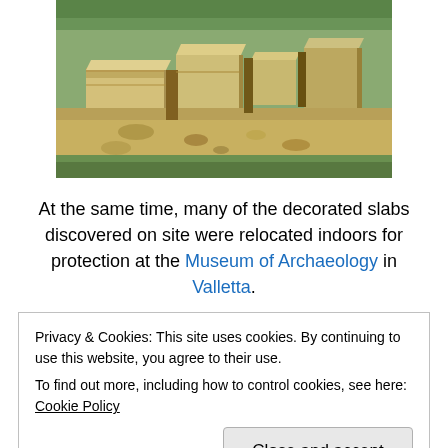[Figure (photo): Aerial/overhead view of ancient stone temple ruins (likely Maltese megalithic temples), showing large limestone block structures, scattered stones, and surrounding vegetation]
At the same time, many of the decorated slabs discovered on site were relocated indoors for protection at the Museum of Archaeology in Valletta.
Privacy & Cookies: This site uses cookies. By continuing to use this website, you agree to their use.
To find out more, including how to control cookies, see here: Cookie Policy
[Close and accept]
and is the most elaborately decorated of the temples of